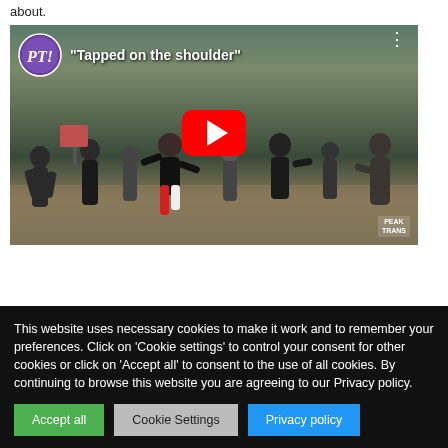about.
[Figure (screenshot): YouTube video embed showing a crowd scene at a protest/altercation outdoors. The video title reads 'Tapped on the shoulder' with a PT! logo (purple circle) in the top left. A large red YouTube play button is centered. A 'PEAK TRANS' watermark appears bottom right.]
This website uses necessary cookies to make it work and to remember your preferences. Click on 'Cookie settings' to control your consent for other cookies or click on 'Accept all' to consent to the use of all cookies. By continuing to browse this website you are agreeing to our Privacy policy.
Accept all | Cookie Settings | Privacy policy